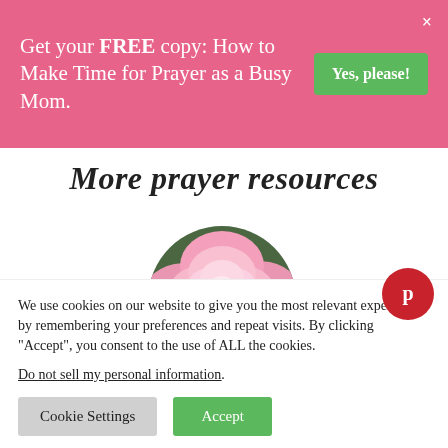Get your FREE copy: How to Make Time for Prayer as a Busy Mom.
Yes, please!
More prayer resources
[Figure (photo): A pink rose flower in a circular cropped image]
We use cookies on our website to give you the most relevant experience by remembering your preferences and repeat visits. By clicking "Accept", you consent to the use of ALL the cookies.
Do not sell my personal information.
Cookie Settings
Accept